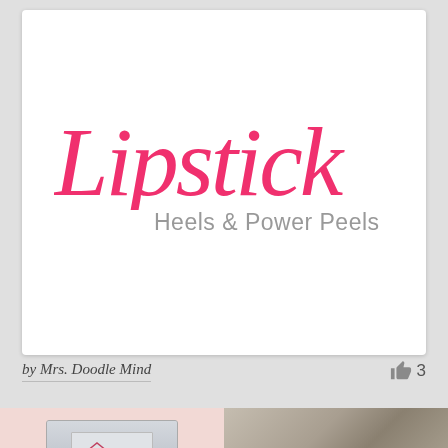[Figure (logo): Lipstick Heels & Power Peels blog logo. The word 'Lipstick' in large pink/hot-pink cursive script, with 'Heels & Power Peels' in smaller gray sans-serif text below and to the right.]
by Mrs. Doodle Mind
3
[Figure (photo): A light pink background with a gray gift/product box featuring a small logo mark on the lid, bottom-left card.]
[Figure (photo): Close-up of stone or concrete textured surface, gray-brown tones, bottom-right card.]